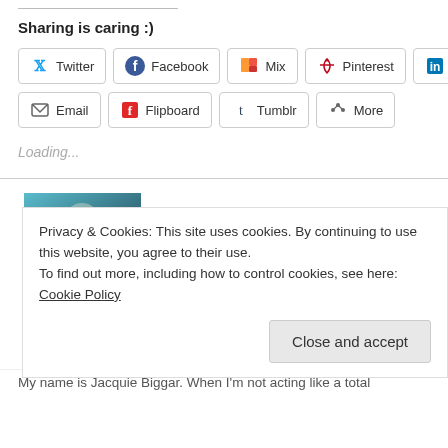Sharing is caring :)
[Figure (infographic): Social sharing buttons row 1: Twitter, Facebook, Mix, Pinterest, LinkedIn]
[Figure (infographic): Social sharing buttons row 2: Email, Flipboard, Tumblr, More]
Loading...
[Figure (photo): Author photo thumbnail (partial, teal/blue toned portrait)]
Privacy & Cookies: This site uses cookies. By continuing to use this website, you agree to their use.
To find out more, including how to control cookies, see here: Cookie Policy
Close and accept
My name is Jacquie Biggar. When I'm not acting like a total